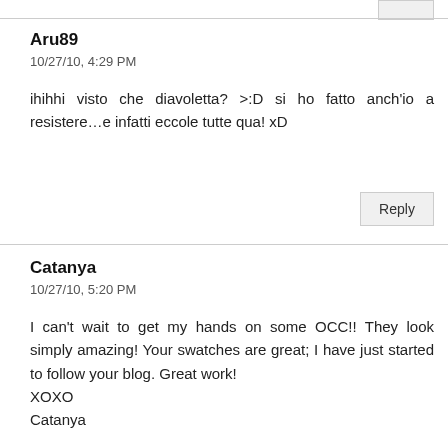Aru89
10/27/10, 4:29 PM
ihihhi visto che diavoletta? >:D si ho fatto anch'io a resistere...e infatti eccole tutte qua! xD
Reply
Catanya
10/27/10, 5:20 PM
I can't wait to get my hands on some OCC!! They look simply amazing! Your swatches are great; I have just started to follow your blog. Great work!
XOXO
Catanya